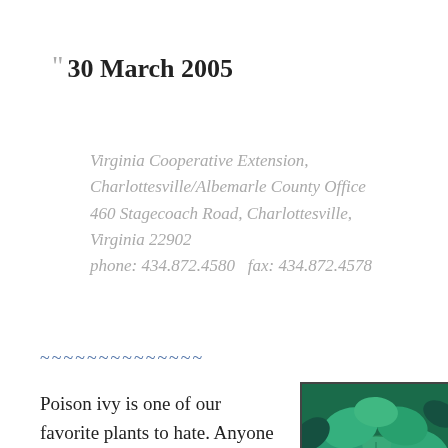30 March 2005
Virginia Cooperative Extension, Charlottesville/Albemarle County Office 460 Stagecoach Road, Charlottesville, Virginia 22902 phone: 434.872.4580  fax: 434.872.4578
~~~~~~~~~~~~~~
Poison ivy is one of our favorite plants to hate. Anyone who has ever
[Figure (photo): Close-up photograph of poison ivy leaves, showing green leaflets with teal/blue-green coloring]